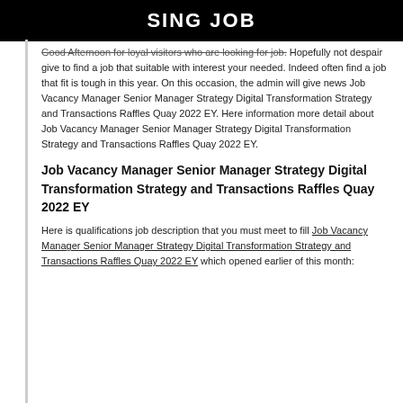SING JOB
Good Afternoon for loyal visitors who are looking for job. Hopefully not despair give to find a job that suitable with interest your needed. Indeed often find a job that fit is tough in this year. On this occasion, the admin will give news Job Vacancy Manager Senior Manager Strategy Digital Transformation Strategy and Transactions Raffles Quay 2022 EY. Here information more detail about Job Vacancy Manager Senior Manager Strategy Digital Transformation Strategy and Transactions Raffles Quay 2022 EY.
Job Vacancy Manager Senior Manager Strategy Digital Transformation Strategy and Transactions Raffles Quay 2022 EY
Here is qualifications job description that you must meet to fill Job Vacancy Manager Senior Manager Strategy Digital Transformation Strategy and Transactions Raffles Quay 2022 EY which opened earlier of this month: